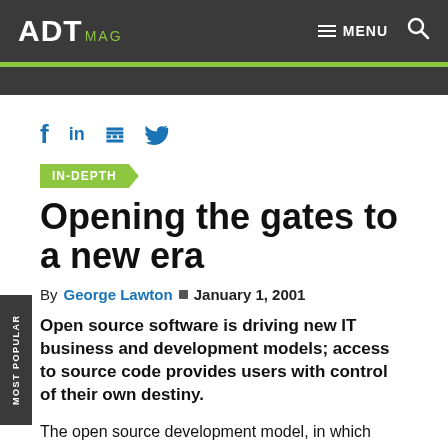ADT MAG  MENU
[Figure (logo): ADT MAG logo in white and green on dark grey header bar]
f  in
IN-DEPTH
Opening the gates to a new era
By George Lawton  January 1, 2001
Open source software is driving new IT business and development models; access to source code provides users with control of their own destiny.
The open source development model, in which applications and source code are given away for free, is revolutionizing the software industry. In some cases,